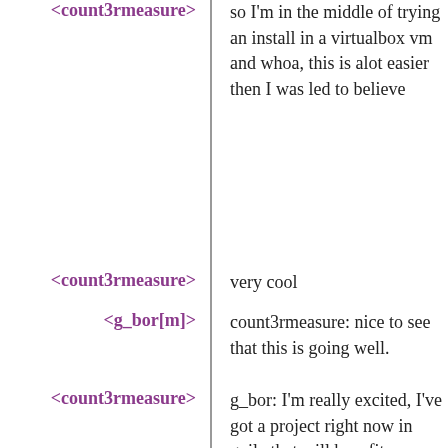<count3rmeasure>
so I'm in the middle of trying an install in a virtualbox vm and whoa, this is alot easier then I was led to believe
<count3rmeasure>
very cool
<g_bor[m]>
count3rmeasure: nice to see that this is going well.
<count3rmeasure>
g_bor: I'm really excited, I've got a project right now in guile that will benefit enormously from intergration with guix,